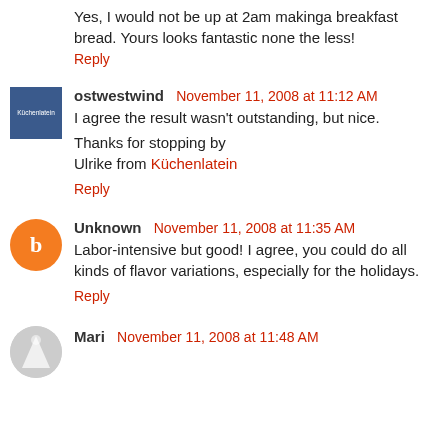Yes, I would not be up at 2am makinga breakfast bread. Yours looks fantastic none the less!
Reply
ostwestwind  November 11, 2008 at 11:12 AM
I agree the result wasn't outstanding, but nice.

Thanks for stopping by
Ulrike from Küchenlatein
Reply
Unknown  November 11, 2008 at 11:35 AM
Labor-intensive but good! I agree, you could do all kinds of flavor variations, especially for the holidays.
Reply
Mari  November 11, 2008 at 11:48 AM